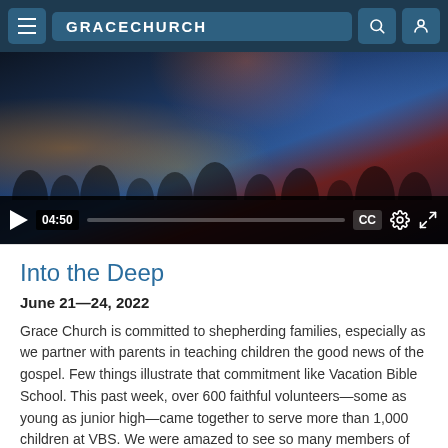GRACECHURCH
[Figure (screenshot): Video player showing a crowd scene at what appears to be a church event. Controls show 04:50 timestamp, play button, progress bar, CC, settings, and fullscreen icons.]
Into the Deep
June 21—24, 2022
Grace Church is committed to shepherding families, especially as we partner with parents in teaching children the good news of the gospel. Few things illustrate that commitment like Vacation Bible School. This past week, over 600 faithful volunteers—some as young as junior high—came together to serve more than 1,000 children at VBS. We were amazed to see so many members of our church serve in this way! And we were thankful to welcome children from the neighborhood, the greater community, and even from